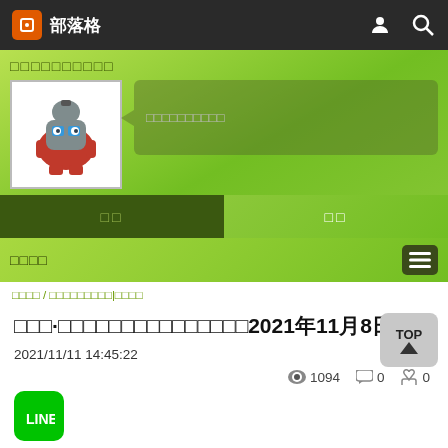部落格
□□□□□□□□□□
□□□□□□□□□□
□□  □□
□□□□
□□□□ / □□□□□□□□□|□□□□
□□□·□□□□□□□□□□□□□□□2021年11月8日□□
2021/11/11 14:45:22
👁 1094  💬 0  👍 0